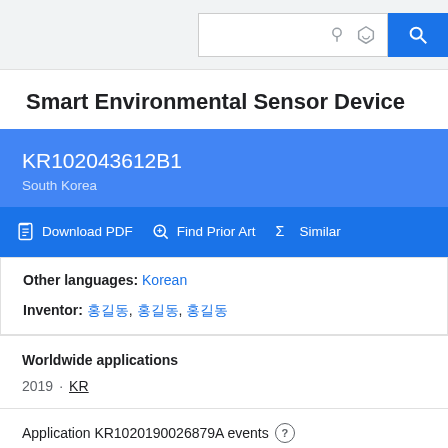Smart Environmental Sensor Device — Google Patents search interface
Smart Environmental Sensor Device
KR102043612B1
South Korea
Download PDF  Find Prior Art  Similar
Other languages: Korean
Inventor: 홍길동, 홍길동, 홍길동
Worldwide applications
2019 · KR
Application KR1020190026879A events ?